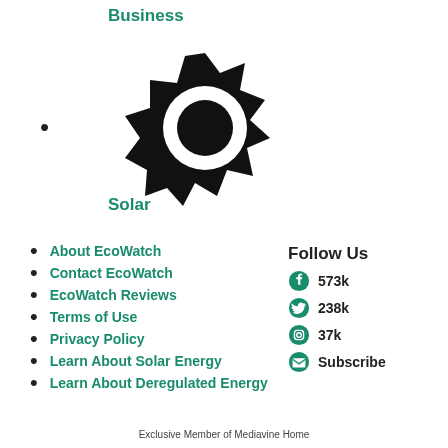Business
[Figure (illustration): Black sun/gear icon with circular cutout in center, bullet point to the left]
Solar
About EcoWatch
Contact EcoWatch
EcoWatch Reviews
Terms of Use
Privacy Policy
Learn About Solar Energy
Learn About Deregulated Energy
Follow Us
573k
238k
37k
Subscribe
Exclusive Member of Mediavine Home